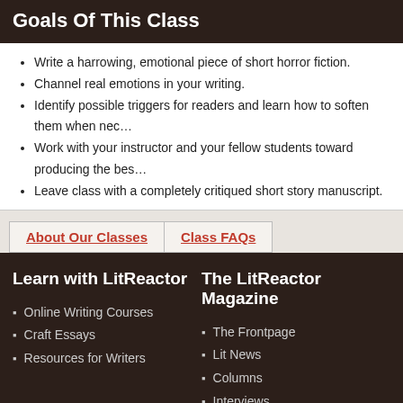Goals Of This Class
Write a harrowing, emotional piece of short horror fiction.
Channel real emotions in your writing.
Identify possible triggers for readers and learn how to soften them when nec…
Work with your instructor and your fellow students toward producing the bes…
Leave class with a completely critiqued short story manuscript.
About Our Classes | Class FAQs
Learn with LitReactor
Online Writing Courses
Craft Essays
Resources for Writers
The LitReactor Magazine
The Frontpage
Lit News
Columns
Interviews
Reviews